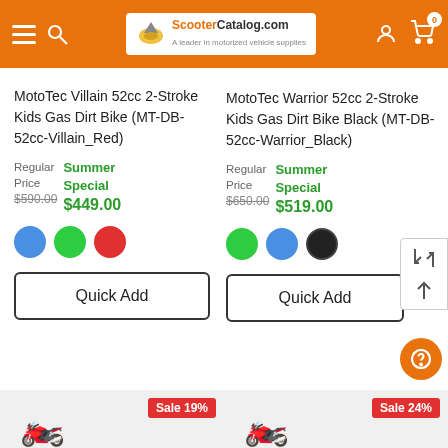ScooterCatalog.com
MotoTec Villain 52cc 2-Stroke Kids Gas Dirt Bike (MT-DB-52cc-Villain_Red)
Regular Price $590.00  Summer Special $449.00
MotoTec Warrior 52cc 2-Stroke Kids Gas Dirt Bike Black (MT-DB-52cc-Warrior_Black)
Regular Price $650.00  Summer Special $519.00
Quick Add
Quick Add
Sale 19%
Sale 24%